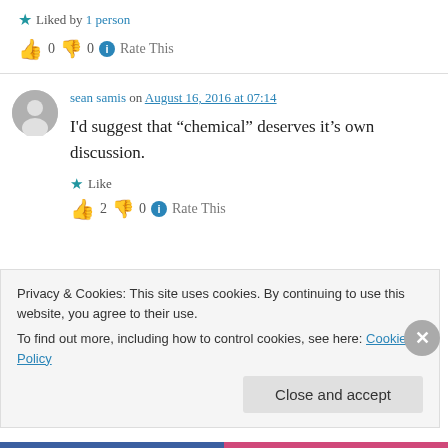★ Liked by 1 person
👍 0 👎 0 ℹ Rate This
sean samis on August 16, 2016 at 07:14
I'd suggest that "chemical" deserves it's own discussion.
★ Like
👍 2 👎 0 ℹ Rate This
Privacy & Cookies: This site uses cookies. By continuing to use this website, you agree to their use.
To find out more, including how to control cookies, see here: Cookie Policy
Close and accept